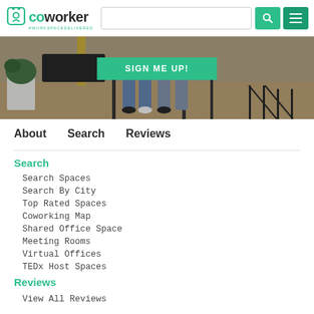coworker #WORKSPACEDELIVERED — search bar, search button, menu button
[Figure (photo): Hero image of people sitting at a coworking space with a green SIGN ME UP! button overlaid]
About    Search    Reviews
Search
Search Spaces
Search By City
Top Rated Spaces
Coworking Map
Shared Office Space
Meeting Rooms
Virtual Offices
TEDx Host Spaces
Reviews
View All Reviews